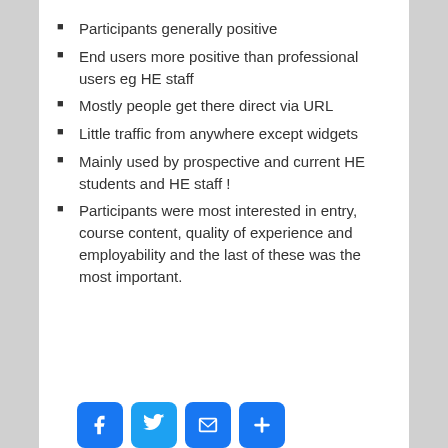Participants generally positive
End users more positive than professional users eg HE staff
Mostly people get there direct via URL
Little traffic from anywhere except widgets
Mainly used by prospective and current HE students and HE staff !
Participants were most interested in entry, course content, quality of experience and employability and the last of these was the most important.